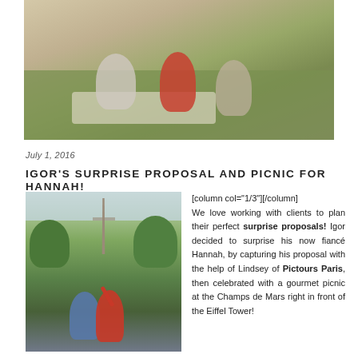[Figure (photo): Photo of a couple and friends having a picnic on grass, sitting on a blanket with a sign and roses visible]
July 1, 2016
IGOR'S SURPRISE PROPOSAL AND PICNIC FOR HANNAH!
[Figure (photo): Photo of a couple celebrating in front of the Eiffel Tower, woman in red outfit raising her arm]
[column col="1/3"][/column] We love working with clients to plan their perfect surprise proposals! Igor decided to surprise his now fiancé Hannah, by capturing his proposal with the help of Lindsey of Pictours Paris, then celebrated with a gourmet picnic at the Champs de Mars right in front of the Eiffel Tower!